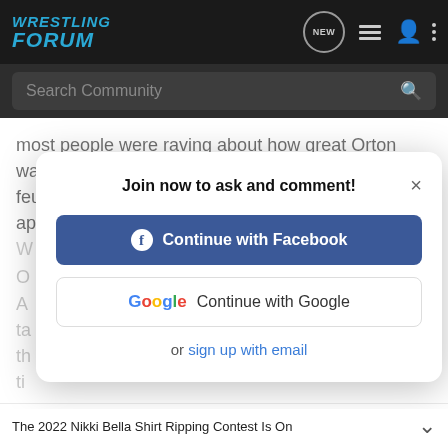WRESTLING FORUM
Search Community
most people were raving about how great Orton was, and how entertaining he was. But one shit feud later and he sucks and is insanely dull apparently. We all know Wyatt feuds are terrible, W... in... be...
Join now to ask and comment!
Continue with Facebook
Continue with Google
or sign up with email
O... A... ta... il th... ti...
The 2022 Nikki Bella Shirt Ripping Contest Is On